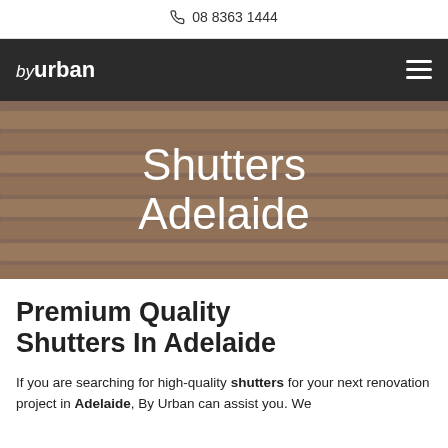08 8363 1444
[Figure (logo): by urban logo in white text on dark background]
Shutters Adelaide
Premium Quality Shutters In Adelaide
If you are searching for high-quality shutters for your next renovation project in Adelaide, By Urban can assist you. We